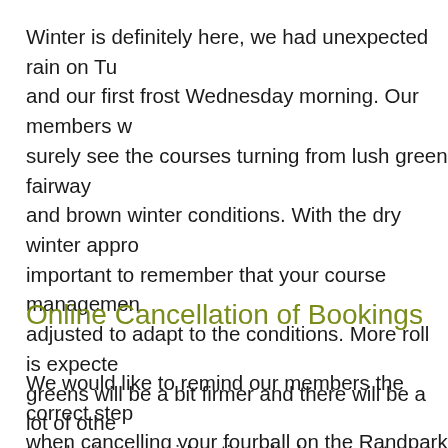Winter is definitely here, we had unexpected rain on Tu and our first frost Wednesday morning. Our members w surely see the courses turning from lush green fairway and brown winter conditions. With the dry winter appro important to remember that your course managemen adjusted to adapt to the conditions. More roll is expecte greens will be a bit firmer and there will be a lot of othe to take into consideration playing in winter conditions – afternoon wind that will pick up.
Online Cancellation of Bookings
We would like to remind our members the correct step when cancelling your fourball on the Randpark App. W members phoning us in panic that they by accident de